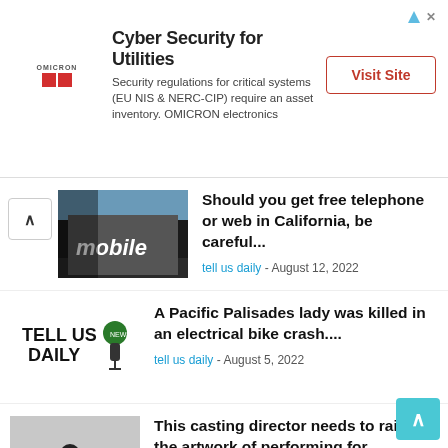[Figure (other): Advertisement banner for Omicron: Cyber Security for Utilities. Contains Omicron logo, ad title, body text, and Visit Site button.]
Should you get free telephone or web in California, be careful... - tell us daily - August 12, 2022
A Pacific Palisades lady was killed in an electrical bike crash.... - tell us daily - August 5, 2022
This casting director needs to raise the artwork of performing for... - tell us daily - August 1, 2022